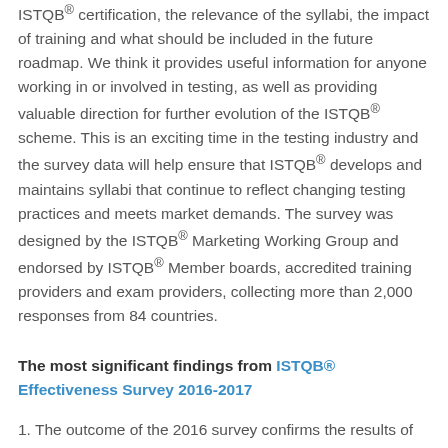ISTQB® certification, the relevance of the syllabi, the impact of training and what should be included in the future roadmap. We think it provides useful information for anyone working in or involved in testing, as well as providing valuable direction for further evolution of the ISTQB® scheme. This is an exciting time in the testing industry and the survey data will help ensure that ISTQB® develops and maintains syllabi that continue to reflect changing testing practices and meets market demands. The survey was designed by the ISTQB® Marketing Working Group and endorsed by ISTQB® Member boards, accredited training providers and exam providers, collecting more than 2,000 responses from 84 countries.
The most significant findings from ISTQB® Effectiveness Survey 2016-2017
1. The outcome of the 2016 survey confirms the results of the one done in 2013, with a very